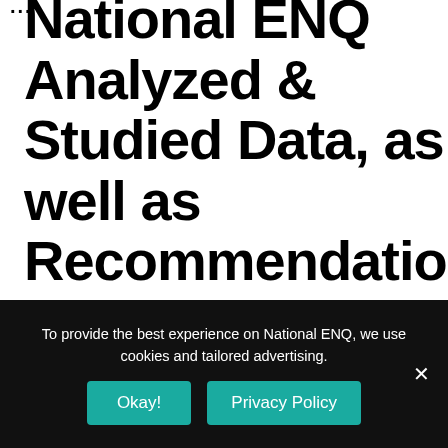...
National ENQ Analyzed & Studied Data, as well as Recommendations for
To provide the best experience on National ENQ, we use cookies and tailored advertising.
Okay! | Privacy Policy | ×